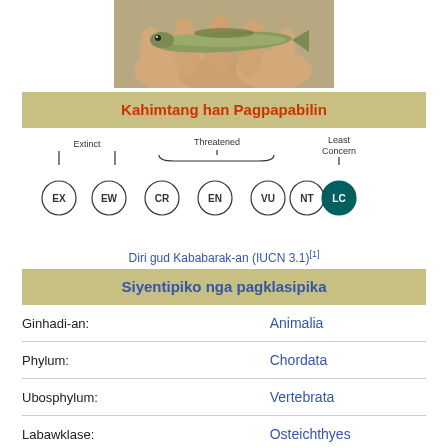[Figure (photo): A small fish held in a person's hand, viewed from the side, showing a greenish-brown elongated body.]
Kahimtang han Pagpapabilin
[Figure (infographic): IUCN conservation status scale showing circles labeled EX, EW, CR, EN, VU, NT, LC. LC (Least Concern) is highlighted in dark teal. Labels above: Extinct (over EX, EW), Threatened (over CR, EN, VU with brace), Least Concern (over LC).]
Diri gud Kababarak-an (IUCN 3.1)[1]
Siyentipiko nga pagklasipika
| Label | Value |
| --- | --- |
| Ginhadi-an: | Animalia |
| Phylum: | Chordata |
| Ubosphylum: | Vertebrata |
| Labawklase: | Osteichthyes |